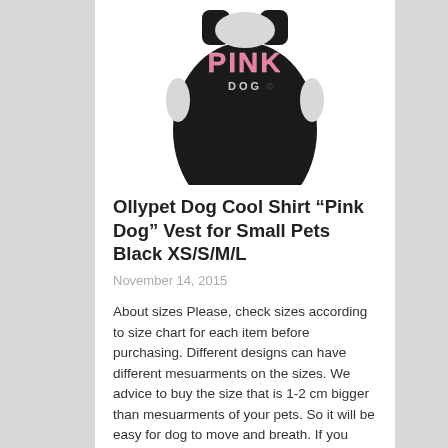[Figure (photo): Black dog vest/tank top with pink polka-dot 'PINK DOG' text and small heart graphic on front, shown from back, on white background]
Ollypet Dog Cool Shirt “Pink Dog” Vest for Small Pets Black XS/S/M/L
November 14, 2015
About sizes Please, check sizes according to size chart for each item before purchasing. Different designs can have different mesuarments on the sizes. We advice to buy the size that is 1-2 cm bigger than mesuarments of your pets. So it will be easy for dog to move and breath. If you have any questions about sizes feel free to contact us. We will be happy to help you About Shipping...